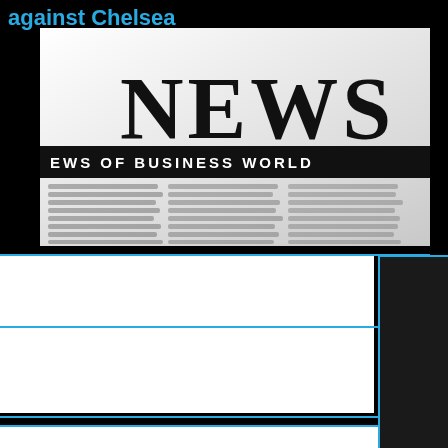against Chelsea
[Figure (photo): A close-up photograph of a newspaper showing the word NEWS in large bold serif font and a subheading reading NEWS OF BUSINESS WORLD, with blurred columns of text below on a white background.]